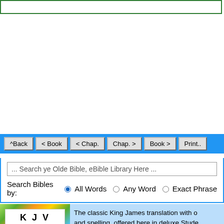[Figure (screenshot): Top green-bordered box, empty white area (navigation/header UI element)]
[Figure (screenshot): Blue navigation bar with buttons: ^Back, < Book, < Chap., Chap. >, Book >, Print..]
[Figure (screenshot): Search bar with placeholder text '... Search ye Olde Bible, eBible Library Here ...' and radio button options: All Words, Any Word, Exact Phrase]
[Figure (illustration): KJV 1611 King James Bible book cover image with crown graphic, colorful background]
The classic King James translation with original spelling, offered here in deluxe Student Edition featuring over 337,000 cross-references and notes. (Easily navigate from reference note to verse.) Each verse is linked to an exhaustive concordance with Hebrew and Greek dictionaries. (Easily navigate from definition to location!) This study Bible o